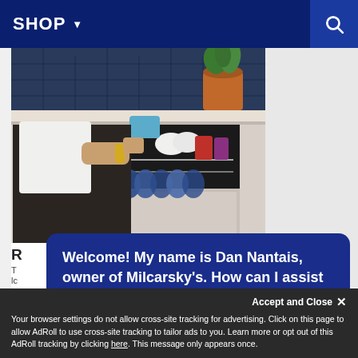SHOP ▾
[Figure (photo): Person loading dishes into an open dishwasher in a kitchen with dark tile backsplash and potted plants on the counter]
Welcome! My name is Dan Nantais, owner of Milcarsky's. How can I assist you today?
Your browser settings do not allow cross-site tracking for advertising. Click on this page to allow AdRoll to use cross-site tracking to tailor ads to you. Learn more or opt out of this AdRoll tracking by clicking here. This message only appears once.